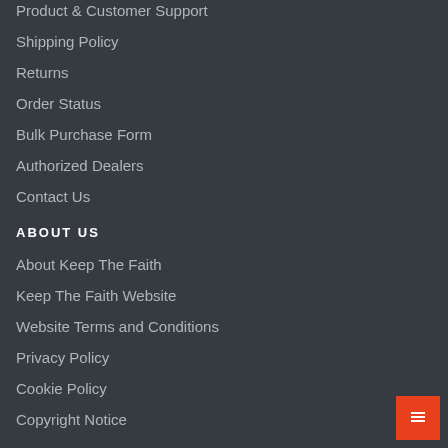Product & Customer Support
Shipping Policy
Returns
Order Status
Bulk Purchase Form
Authorized Dealers
Contact Us
ABOUT US
About Keep The Faith
Keep The Faith Website
Website Terms and Conditions
Privacy Policy
Cookie Policy
Copyright Notice